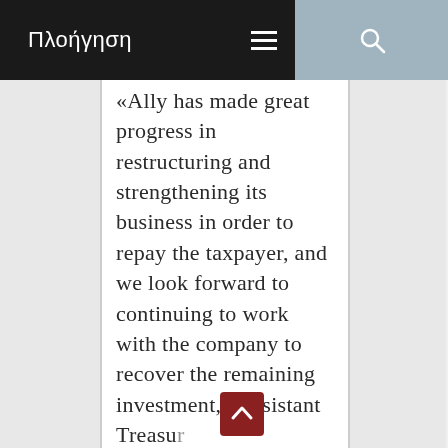Πλοήγηση
«Ally has made great progress in restructuring and strengthening its business in order to repay the taxpayer, and we look forward to continuing to work with the company to recover the remaining investment,» Assistant Treasu[ry] Secretar[y for…]